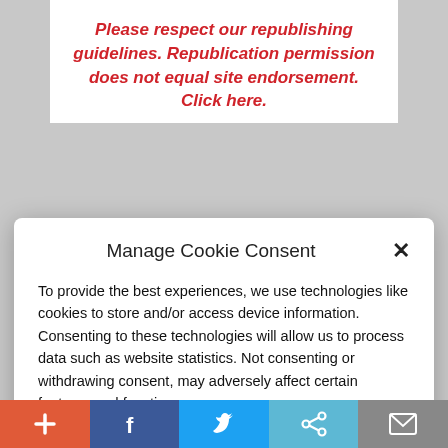Please respect our republishing guidelines. Republication permission does not equal site endorsement. Click here.
Manage Cookie Consent
To provide the best experiences, we use technologies like cookies to store and/or access device information. Consenting to these technologies will allow us to process data such as website statistics. Not consenting or withdrawing consent, may adversely affect certain features and functions.
Accept
Cookie Policy   Privacy Policy
conservatives